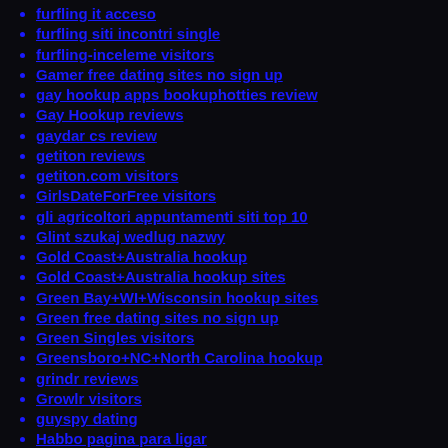furfling it acceso
furfling siti incontri single
furfling-inceleme visitors
Gamer free dating sites no sign up
gay hookup apps bookuphotties review
Gay Hookup reviews
gaydar cs review
getiton reviews
getiton.com visitors
GirlsDateForFree visitors
gli agricoltori appuntamenti siti top 10
Glint szukaj wedlug nazwy
Gold Coast+Australia hookup
Gold Coast+Australia hookup sites
Green Bay+WI+Wisconsin hookup sites
Green free dating sites no sign up
Green Singles visitors
Greensboro+NC+North Carolina hookup
grindr reviews
Growlr visitors
guyspy dating
Habbo pagina para ligar
Habbo siti incontri single
hampton escort book
happn reviews
Heated Affairs visitors